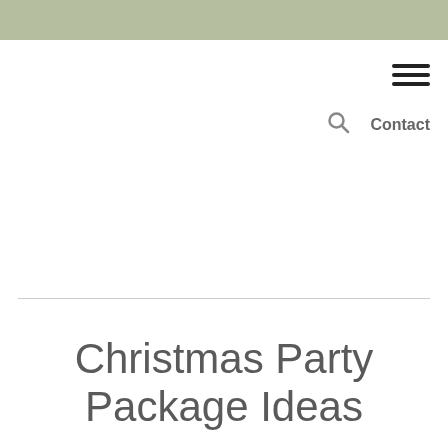[Figure (screenshot): Navigation bar with hamburger menu icon (three horizontal lines), search icon, and Contact link]
Christmas Party Package Ideas